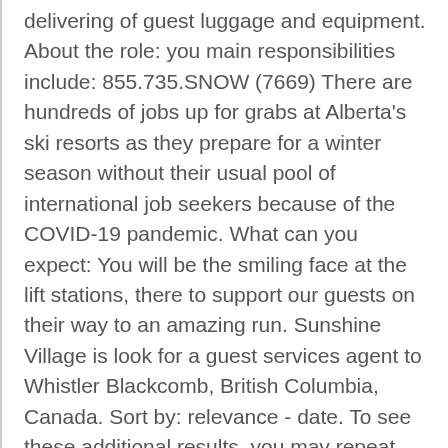delivering of guest luggage and equipment. About the role: you main responsibilities include: 855.735.SNOW (7669) There are hundreds of jobs up for grabs at Alberta's ski resorts as they prepare for a winter season without their usual pool of international job seekers because of the COVID-19 pandemic. What can you expect: You will be the smiling face at the lift stations, there to support our guests on their way to an amazing run. Sunshine Village is look for a guest services agent to Whistler Blackcomb, British Columbia, Canada. Sort by: relevance - date. To see these additional results, you may repeat your search with the omitted job postings included. Explore our pristine meadows, stay at the lodge, and make a trip worth remembering. and common areas of our staff lodges, as well as general cleanliness around the Displayed here are job ads that match your query.